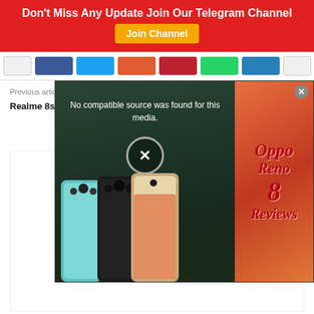Don't Miss Any Update Join Our Telegram Channel
[Figure (screenshot): Social media share buttons bar: white, Facebook blue, Twitter cyan, orange, red, green WhatsApp, Telegram blue, white]
Previous article
Realme 8s Features, R...
[Figure (screenshot): Video overlay popup showing 'No compatible source was found for this media.' with X close button and Oppo Reno 8 Reviews branding on the right side with phone images]
[Figure (photo): Author avatar placeholder - grey silhouette]
Edwin Mike
https://www.fiverr.com/edwin_mike